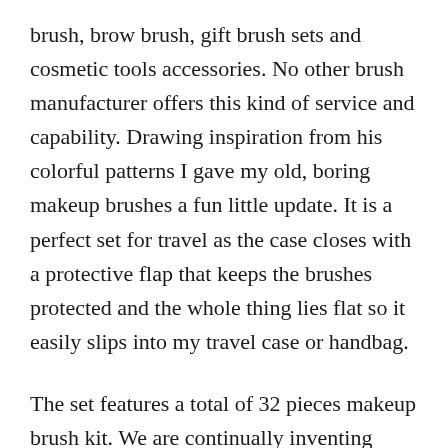brush, brow brush, gift brush sets and cosmetic tools accessories. No other brush manufacturer offers this kind of service and capability. Drawing inspiration from his colorful patterns I gave my old, boring makeup brushes a fun little update. It is a perfect set for travel as the case closes with a protective flap that keeps the brushes protected and the whole thing lies flat so it easily slips into my travel case or handbag.
The set features a total of 32 pieces makeup brush kit. We are continually inventing innovative designs and applying them to create new precision cosmetic brushes. All the products are totally handcrafted with premium natural hair or synthetic fiber alternative materials, together with seamless ferrules for safety and